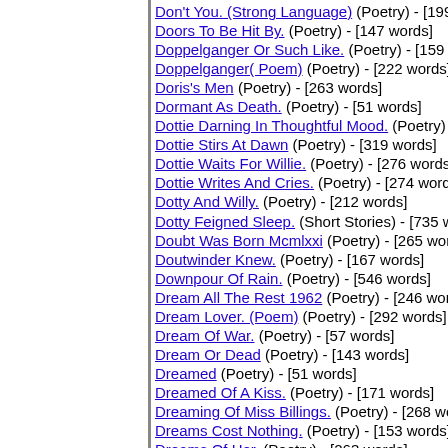Don't You. (Strong Language) (Poetry) - [199 words]
Doors To Be Hit By. (Poetry) - [147 words]
Doppelganger Or Such Like. (Poetry) - [159 words]
Doppelganger( Poem) (Poetry) - [222 words]
Doris's Men (Poetry) - [263 words]
Dormant As Death. (Poetry) - [51 words]
Dottie Darning In Thoughtful Mood. (Poetry) -
Dottie Stirs At Dawn (Poetry) - [319 words]
Dottie Waits For Willie. (Poetry) - [276 words]
Dottie Writes And Cries. (Poetry) - [274 words]
Dotty And Willy. (Poetry) - [212 words]
Dotty Feigned Sleep. (Short Stories) - [735 words]
Doubt Was Born Mcmlxxi (Poetry) - [265 words]
Doutwinder Knew. (Poetry) - [167 words]
Downpour Of Rain. (Poetry) - [546 words]
Dream All The Rest 1962 (Poetry) - [246 words]
Dream Lover. (Poem) (Poetry) - [292 words]
Dream Of War. (Poetry) - [57 words]
Dream Or Dead (Poetry) - [143 words]
Dreamed (Poetry) - [51 words]
Dreamed Of A Kiss. (Poetry) - [171 words]
Dreaming Of Miss Billings. (Poetry) - [268 words]
Dreams Cost Nothing. (Poetry) - [153 words]
Dreams Of Her. (Poetry) - [263 words]
Dreamt In Her Dreams (Poetry) - [691 words]